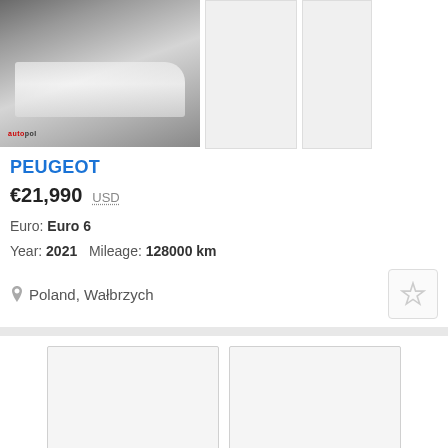[Figure (photo): White Peugeot box truck / van viewed from front-left angle, parked outdoors. Has autopol watermark logo at bottom left.]
[Figure (photo): Secondary thumbnail photo of the vehicle (gray/blank placeholder)]
[Figure (photo): Third thumbnail photo of the vehicle (gray/blank placeholder)]
PEUGEOT
€21,990  USD
Euro: Euro 6
Year: 2021   Mileage: 128000 km
Poland, Wałbrzych
[Figure (photo): Large bottom-left thumbnail placeholder for another vehicle listing]
[Figure (photo): Large bottom-right thumbnail placeholder for another vehicle listing]